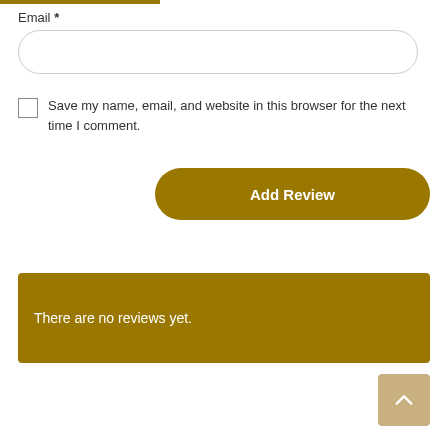Email *
[Figure (other): Email text input field, rounded rectangle border]
Save my name, email, and website in this browser for the next time I comment.
Add Review
There are no reviews yet.